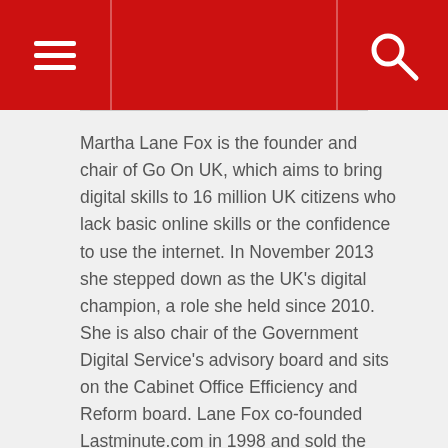Martha Lane Fox is the founder and chair of Go On UK, which aims to bring digital skills to 16 million UK citizens who lack basic online skills or the confidence to use the internet. In November 2013 she stepped down as the UK's digital champion, a role she held since 2010. She is also chair of the Government Digital Service's advisory board and sits on the Cabinet Office Efficiency and Reform board. Lane Fox co-founded Lastminute.com in 1998 and sold the business to Sabre Holdings in 2005.